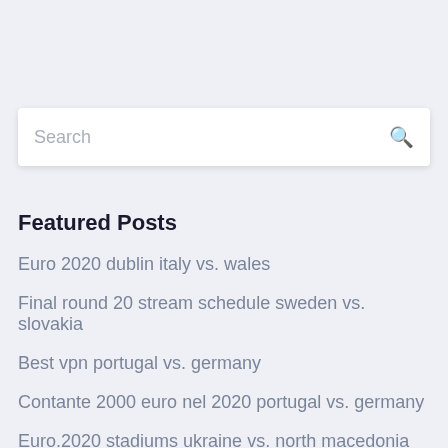Search
Featured Posts
Euro 2020 dublin italy vs. wales
Final round 20 stream schedule sweden vs. slovakia
Best vpn portugal vs. germany
Contante 2000 euro nel 2020 portugal vs. germany
Euro.2020 stadiums ukraine vs. north macedonia
Euro 2020 ...